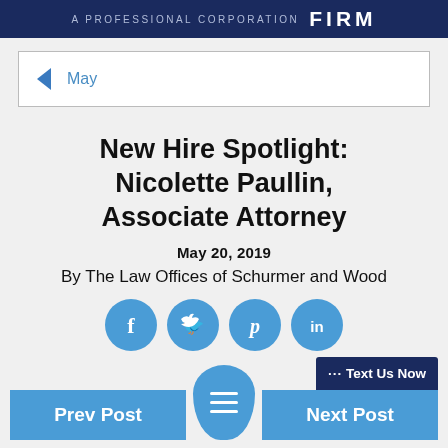A PROFESSIONAL CORPORATION FIRM
< May
New Hire Spotlight: Nicolette Paullin, Associate Attorney
May 20, 2019
By The Law Offices of Schurmer and Wood
[Figure (infographic): Four blue circular social media icon buttons: Facebook (f), Twitter (bird), Pinterest (P), LinkedIn (in)]
[Figure (infographic): Blue hamburger menu bubble icon in center bottom area]
Prev Post
Next Post
... Text Us Now